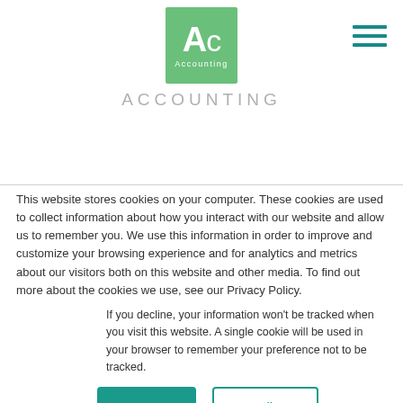[Figure (logo): Green square logo with 'Ac' in white bold text and 'Accounting' label below]
ACCOUNTING
This website stores cookies on your computer. These cookies are used to collect information about how you interact with our website and allow us to remember you. We use this information in order to improve and customize your browsing experience and for analytics and metrics about our visitors both on this website and other media. To find out more about the cookies we use, see our Privacy Policy.
If you decline, your information won't be tracked when you visit this website. A single cookie will be used in your browser to remember your preference not to be tracked.